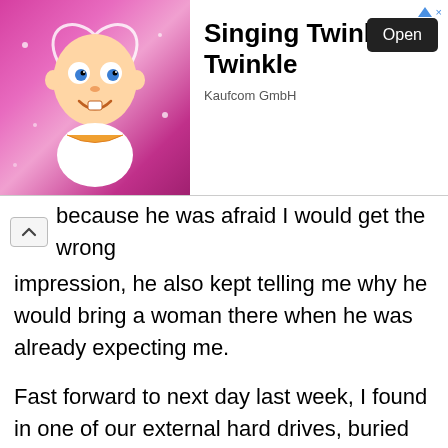[Figure (screenshot): Mobile advertisement banner for 'Singing Twinkle Twinkle' app by Kaufcom GmbH, showing a cartoon baby character on a pink sparkly background on the left, and the app title, publisher name, and an 'Open' button on the right.]
because he was afraid I would get the wrong impression, he also kept telling me why he would bring a woman there when he was already expecting me.
Fast forward to next day last week, I found in one of our external hard drives, buried under folders of family and family members, a folder for "friends", in it, folders of two women's photos taken dated after we started dating, sexual act photos of a few folks (none show him explicitly though I believe one includes him), a photo of the woman whose email started the whole spiral, and most importantly a folder named "me". In it, he had his best, physically attractive, looking shots, even one embracing himself naked from chest up, one photo of his